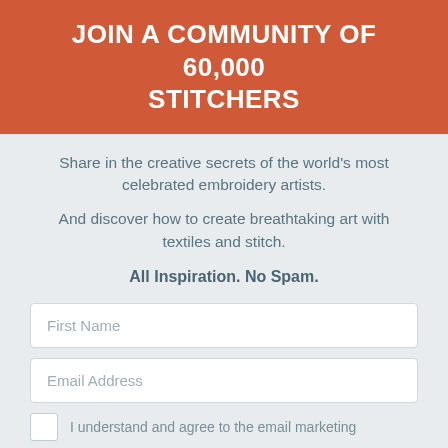JOIN A COMMUNITY OF 60,000 STITCHERS
Share in the creative secrets of the world's most celebrated embroidery artists.
And discover how to create breathtaking art with textiles and stitch.
All Inspiration. No Spam.
First Name
Email Address
I understand and agree to the email marketing
GET THE TEXTILEARTIST.ORG NEWSLETTER